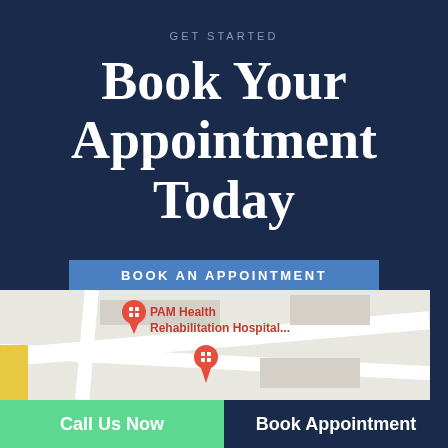GET STARTED
Book Your Appointment Today
BOOK AN APPOINTMENT
[Figure (map): Map showing location of PAM Health Rehabilitation Hospital with red hospital pins]
Call Us Now
Book Appointment